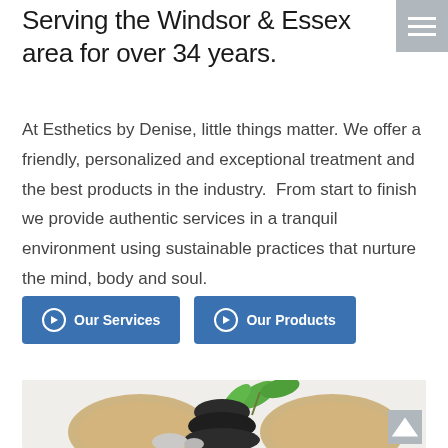Serving the Windsor & Essex area for over 34 years.
At Esthetics by Denise, little things matter. We offer a friendly, personalized and exceptional treatment and the best products in the industry.  From start to finish we provide authentic services in a tranquil environment using sustainable practices that nurture the mind, body and soul.
Our Services
Our Products
[Figure (photo): Spa-themed photo showing stacked black hot stones, loofah sponges, a green plant sprig, and smooth pebbles on a white background inside a light grey rounded rectangle.]